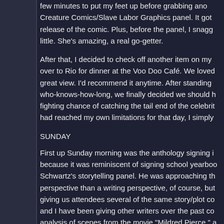few minutes to put my feet up before grabbing another Creature Comics/Slave Labor Graphics panel. It got release of the comic. Plus, before the panel, I snagged little. She's amazing, a real go-getter.
After that, I decided to check off another item on my over to Rio for dinner at the Voo Doo Café. We loved great view. I'd recommend it anytime. After standing who-knows-how-long, we finally decided we should have a fighting chance of catching the tail end of the celebrity had reached my own limitations for that day, I simply
SUNDAY
First up Sunday morning was the anthology signing because it was reminiscent of signing school yearbooks. Schwartz's storytelling panel. He was approaching the perspective than a writing perspective, of course, but giving us attendees several of the same story/plot concepts and I have been giving other writers over the past couple analysis of scenes from the movie "Mildred Pierce," metaphor after another.